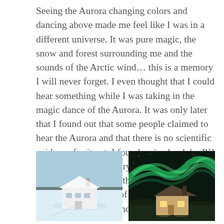Seeing the Aurora changing colors and dancing above made me feel like I was in a different universe. It was pure magic, the snow and forest surrounding me and the sounds of the Arctic wind... this is a memory I will never forget. I even thought that I could hear something while I was taking in the magic dance of the Aurora. It was only later that I found out that some people claimed to hear the Aurora and that there is no scientific evidence for it yet. I found a nice book by Pål Brekke called The Story About the Northern Lights which is about the history and different perceptions of the Aurora Borealis. I can warmly recommend it to everyone.
[Figure (photo): A white house covered in snow in a winter landscape with a pale blue sky]
[Figure (photo): A house illuminated at night with vivid green Aurora Borealis swirling in the dark sky above]